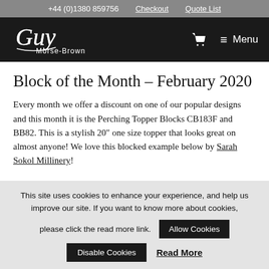+44 (0)1380 859756   Checkout   Quote List
[Figure (logo): Guy Morse-Brown cursive logo in white on black background with shopping cart icon and hamburger Menu button]
Block of the Month – February 2020
Every month we offer a discount on one of our popular designs and this month it is the Perching Topper Blocks CB183F and BB82. This is a stylish 20″ one size topper that looks great on almost anyone! We love this blocked example below by Sarah Sokol Millinery!
This site uses cookies to enhance your experience, and help us improve our site. If you want to know more about cookies, please click the read more link.   Allow Cookies   Disable Cookies   Read More